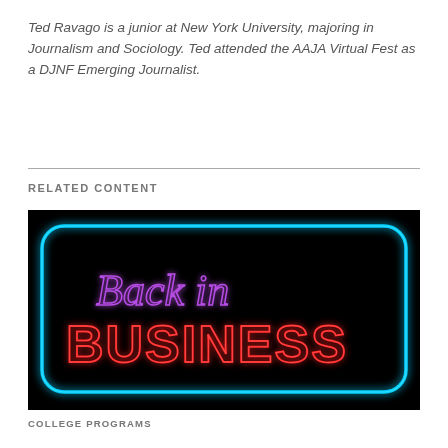Ted Ravago is a junior at New York University, majoring in Journalism and Sociology. Ted attended the AAJA Virtual Fest as a DJNF Emerging Journalist.
RELATED CONTENT
[Figure (photo): Neon sign reading 'Back in BUSINESS' — purple cursive text on top, red bold text on bottom, inside a blue neon rounded rectangle border on a black background.]
COLLEGE PROGRAMS